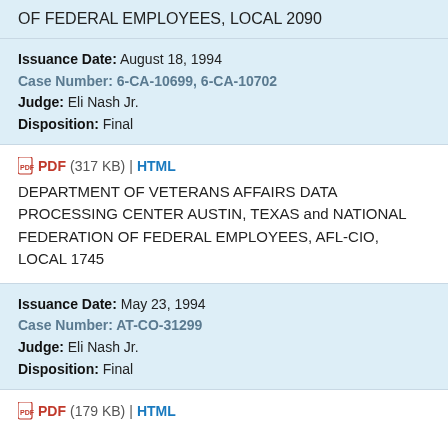OF FEDERAL EMPLOYEES, LOCAL 2090
Issuance Date: August 18, 1994
Case Number: 6-CA-10699, 6-CA-10702
Judge: Eli Nash Jr.
Disposition: Final
PDF (317 KB) | HTML
DEPARTMENT OF VETERANS AFFAIRS DATA PROCESSING CENTER AUSTIN, TEXAS and NATIONAL FEDERATION OF FEDERAL EMPLOYEES, AFL-CIO, LOCAL 1745
Issuance Date: May 23, 1994
Case Number: AT-CO-31299
Judge: Eli Nash Jr.
Disposition: Final
PDF (179 KB) | HTML